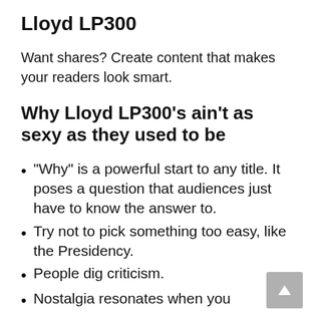Lloyd LP300
Want shares? Create content that makes your readers look smart.
Why Lloyd LP300’s ain’t as sexy as they used to be
“Why” is a powerful start to any title. It poses a question that audiences just have to know the answer to.
Try not to pick something too easy, like the Presidency.
People dig criticism.
Nostalgia resonates when you